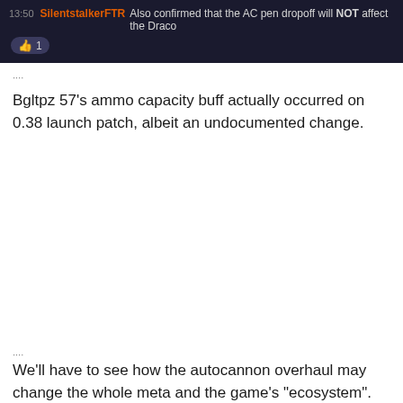[Figure (screenshot): Chat message from SilentstalkerFTR saying 'Also confirmed that the AC pen dropoff will NOT affect the Draco' with a thumbs up reaction showing 1]
····
Bgltpz 57's ammo capacity buff actually occurred on 0.38 launch patch, albeit an undocumented change.
····
We'll have to see how the autocannon overhaul may change the whole meta and the game's "ecosystem". May also have to look out for MBTs